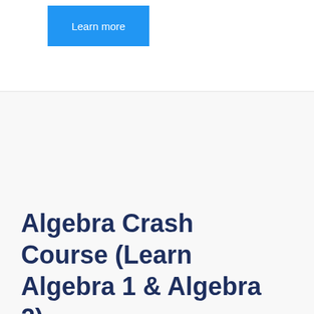[Figure (other): Blue 'Learn more' button in top-left area of page]
Algebra Crash Course (Learn Algebra 1 & Algebra 2)